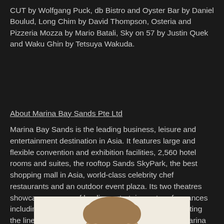CUT by Wolfgang Puck, db Bistro and Oyster Bar by Daniel Boulud, Long Chim by David Thompson, Osteria and Pizzeria Mozza by Mario Batali, Sky on 57 by Justin Quek and Waku Ghin by Tetsuya Wakuda.
About Marina Bay Sands Pte Ltd
Marina Bay Sands is the leading business, leisure and entertainment destination in Asia. It features large and flexible convention and exhibition facilities, 2,560 hotel rooms and suites, the rooftop Sands SkyPark, the best shopping mall in Asia, world-class celebrity chef restaurants and an outdoor event plaza. Its two theatres showcase a range of leading entertainment performances including world-renowned Broadway shows. Completing the line-up of attractions is ArtScience Museum at Marina Bay Sands which plays host to permanent and marquee exhibitions. For more information, please visit www.marinabaysands.com
[Figure (photo): Partial view of a person's head/hair from the top, appearing at the bottom of the page against a light beige/cream background.]